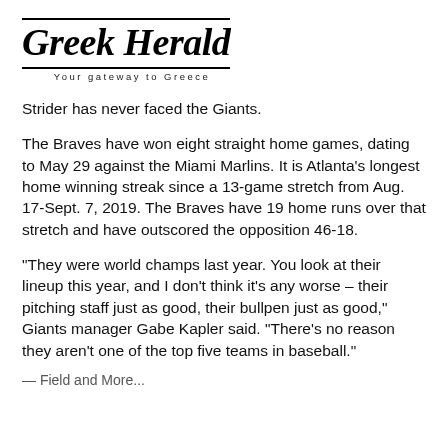Greek Herald — Your gateway to Greece
Strider has never faced the Giants.
The Braves have won eight straight home games, dating to May 29 against the Miami Marlins. It is Atlanta's longest home winning streak since a 13-game stretch from Aug. 17-Sept. 7, 2019. The Braves have 19 home runs over that stretch and have outscored the opposition 46-18.
"They were world champs last year. You look at their lineup this year, and I don't think it's any worse – their pitching staff just as good, their bullpen just as good," Giants manager Gabe Kapler said. "There's no reason they aren't one of the top five teams in baseball."
— Field and More...